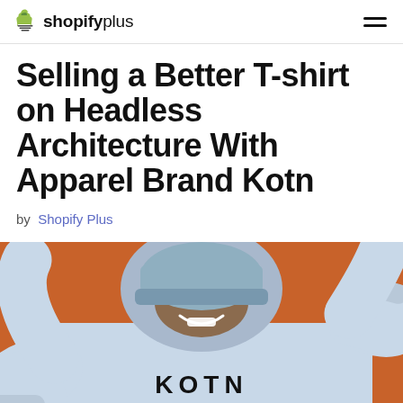shopify plus
Selling a Better T-shirt on Headless Architecture With Apparel Brand Kotn
by Shopify Plus
[Figure (photo): A person wearing a light blue KOTN hoodie and matching bucket hat pulled down over their face, smiling, arms raised, against a warm orange/brown background.]